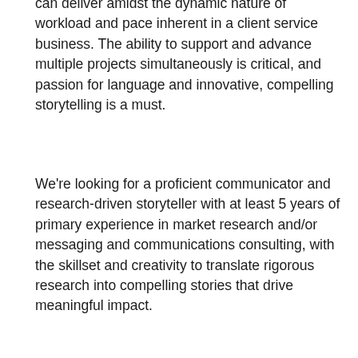can deliver amidst the dynamic nature of workload and pace inherent in a client service business. The ability to support and advance multiple projects simultaneously is critical, and passion for language and innovative, compelling storytelling is a must.
We're looking for a proficient communicator and research-driven storyteller with at least 5 years of primary experience in market research and/or messaging and communications consulting, with the skillset and creativity to translate rigorous research into compelling stories that drive meaningful impact.